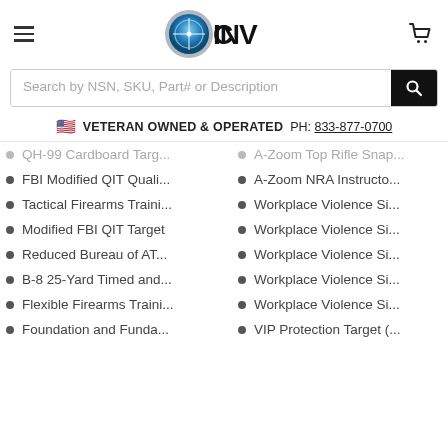CINV website header with hamburger menu, logo, and cart icon
[Figure (logo): CINV logo with blue crosshair scope icon and bold INV text]
Search by NSN, SKU, Part# or Description
🇺🇸 VETERAN OWNED & OPERATED  PH: 833-877-0700
QH-99 Cardboard Targ...
A-Zoom Top Rifle Snap...
FBI Modified QIT Quali...
A-Zoom NRA Instructo...
Tactical Firearms Traini...
Workplace Violence Si...
Modified FBI QIT Target
Workplace Violence Si...
Reduced Bureau of AT...
Workplace Violence Si...
B-8 25-Yard Timed and...
Workplace Violence Si...
Flexible Firearms Traini...
Workplace Violence Si...
Foundation and Funda...
VIP Protection Target (...